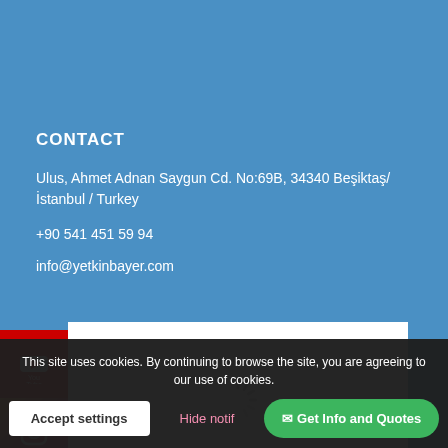CONTACT
Ulus, Ahmet Adnan Saygun Cd. No:69B, 34340 Beşiktaş/İstanbul / Turkey
+90 541 451 59 94
info@yetkinbayer.com
[Figure (other): YouTube social media icon button (red background with YouTube logo)]
[Figure (other): Instagram social media icon button (gradient background with Instagram logo)]
[Figure (other): Map loading area showing a spinner/loading indicator on white background]
This site uses cookies. By continuing to browse the site, you are agreeing to our use of cookies.
Accept settings
Hide notif
Get Info and Quotes